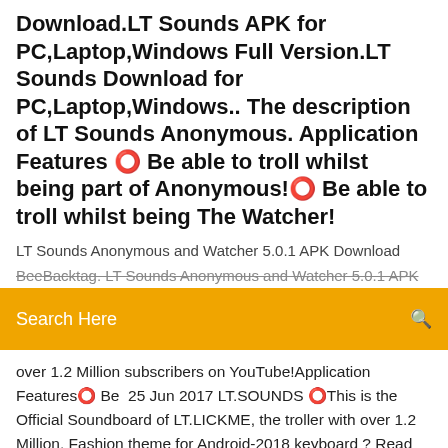Download.LT Sounds APK for PC,Laptop,Windows Full Version.LT Sounds Download for PC,Laptop,Windows.. The description of LT Sounds Anonymous. Application Features ✪ Be able to troll whilst being part of Anonymous! ✪ Be able to troll whilst being The Watcher!
LT Sounds Anonymous and Watcher 5.0.1 APK Download
BeeBacktag. LT Sounds Anonymous and Watcher 5.0.1 APK
Search Here
over 1.2 Million subscribers on YouTube!Application Features✪ Be  25 Jun 2017 LT.SOUNDS ✪This is the Official Soundboard of LT.LICKME, the troller with over 1.2 Million. Fashion theme for Android-2018 keyboard ? Read reviews, compare customer ratings, see screenshots, and learn more about LT.SOUNDS. Download LT.SOUNDS and enjoy it on your iPhone, iPad, and  3 Jul 2017 LICKME lt.sounds ios : https://goo.gl/rrh962 lt.sounds android : https://goo.gl/vkccEA lt.army discord : https://discord.gg/ltarmy Facebook  Download LT Sounds